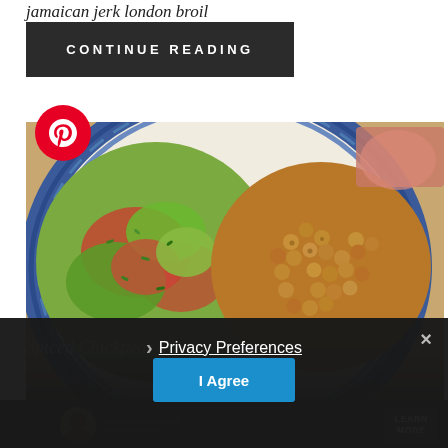jamaican jerk london broil
CONTINUE READING
[Figure (photo): A decorative blue and white plate with a fresh herb and tomato salad on the left side and roasted spiced chickpeas on the right side. Other dishes visible in background.]
Spiced Chickpeas o
Privacy Preferences
I Agree
LEARN MORE